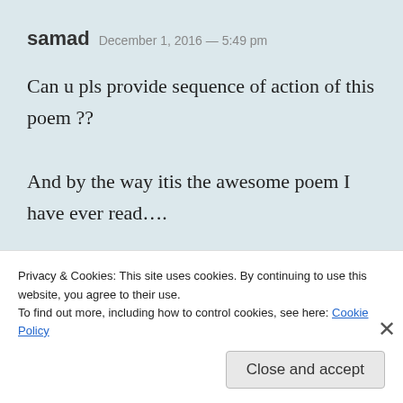samad  December 1, 2016 — 5:49 pm
Can u pls provide sequence of action of this poem ??

And by the way itis the awesome poem I have ever read….
★ Like
Privacy & Cookies: This site uses cookies. By continuing to use this website, you agree to their use.
To find out more, including how to control cookies, see here: Cookie Policy
Close and accept